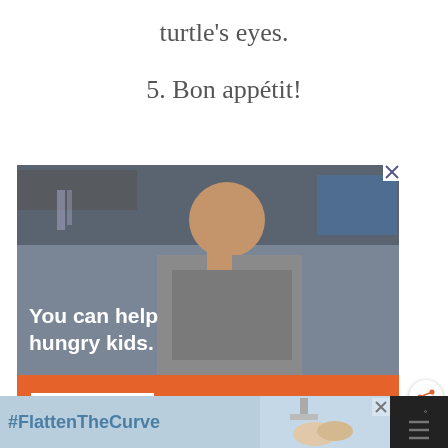turtle's eyes.
5. Bon appétit!
[Figure (photo): Advertisement showing a child eating with text 'You can help hungry kids.' and a No Kid Hungry call-to-action with a Learn How button]
[Figure (photo): Bottom banner advertisement with #FlattenTheCurve text and a person washing hands]